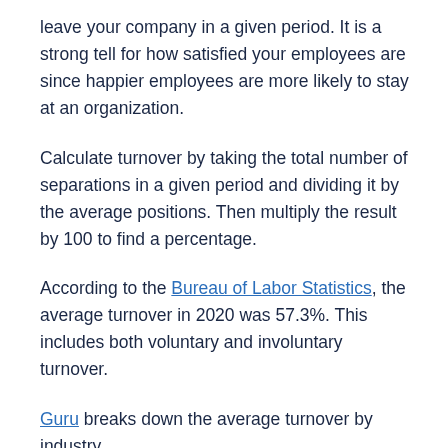leave your company in a given period. It is a strong tell for how satisfied your employees are since happier employees are more likely to stay at an organization.
Calculate turnover by taking the total number of separations in a given period and dividing it by the average positions. Then multiply the result by 100 to find a percentage.
According to the Bureau of Labor Statistics, the average turnover in 2020 was 57.3%. This includes both voluntary and involuntary turnover.
Guru breaks down the average turnover by industry.